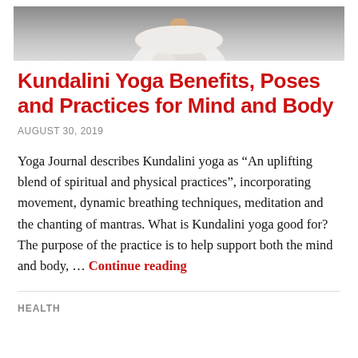[Figure (photo): Cropped photo of a person sitting in a yoga meditation pose, wearing white clothing, torso and folded hands visible, gray background.]
Kundalini Yoga Benefits, Poses and Practices for Mind and Body
AUGUST 30, 2019
Yoga Journal describes Kundalini yoga as “An uplifting blend of spiritual and physical practices”, incorporating movement, dynamic breathing techniques, meditation and the chanting of mantras. What is Kundalini yoga good for? The purpose of the practice is to help support both the mind and body, … Continue reading
HEALTH